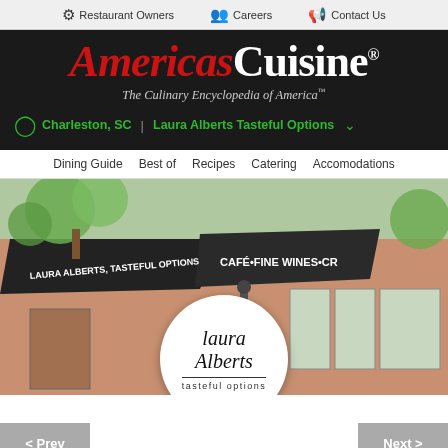Restaurant Owners | Careers | Contact Us
[Figure (logo): AmericasCuisine logo — red italic 'AMERICAS' and white bold 'CUISINE' with registered trademark symbol. Tagline: 'The Culinary Encyclopedia of America™']
Charleston, SC | Laura Alberts Tasteful Options
Dining Guide  Best of  Recipes  Catering  Accomodations
[Figure (photo): Exterior photo of Laura Alberts Tasteful Options restaurant showing black awnings with text 'LAURA ALBERTS, TASTEFUL OPTIONS' and 'CAFÉ•FINE WINES•CR...' with trees and large windows visible. A circular white logo overlay reads 'laura Alberts tasteful options'.]
< Prev
Next >
Laura Alberts Tasteful Option…